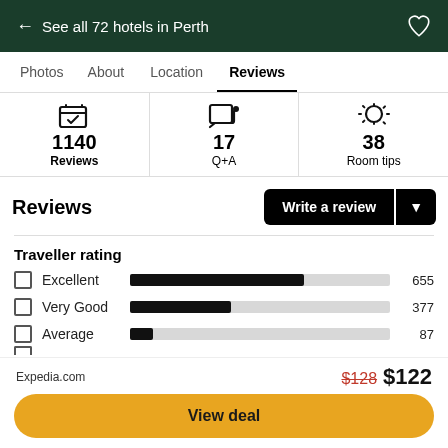← See all 72 hotels in Perth
Photos   About   Location   Reviews
1140 Reviews   17 Q+A   38 Room tips
Reviews
Write a review
Traveller rating
[Figure (bar-chart): Traveller rating]
Expedia.com
$128  $122
View deal